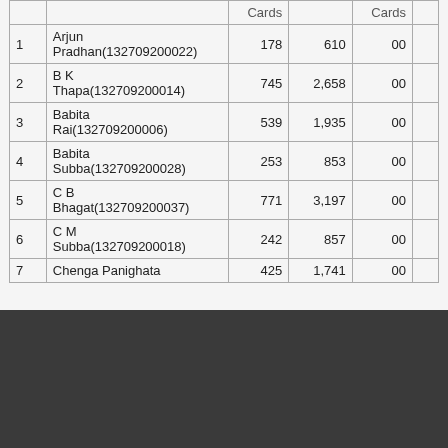|  |  | Cards |  | Cards |  |
| --- | --- | --- | --- | --- | --- |
| 1 | Arjun Pradhan(132709200022) | 178 | 610 | 00 |  |
| 2 | B K Thapa(132709200014) | 745 | 2,658 | 00 |  |
| 3 | Babita Rai(132709200006) | 539 | 1,935 | 00 |  |
| 4 | Babita Subba(132709200028) | 253 | 853 | 00 |  |
| 5 | C B Bhagat(132709200037) | 771 | 3,197 | 00 |  |
| 6 | C M Subba(132709200018) | 242 | 857 | 00 |  |
| 7 | Chenga Panighata | 425 | 1,741 | 00 |  |